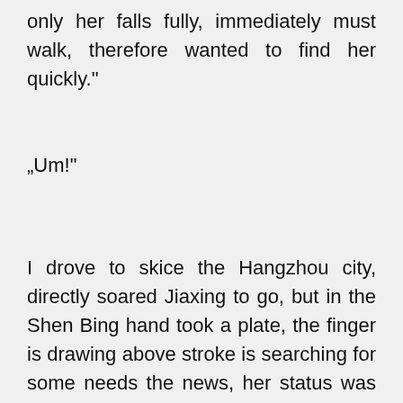only her falls fully, immediately must walk, therefore wanted to find her quickly."
„Um!"
I drove to skice the Hangzhou city, directly soared Jiaxing to go, but in the Shen Bing hand took a plate, the finger is drawing above stroke is searching for some needs the news, her status was quite special, the account number jurisdiction has was the A level, can retrieve the majority of confidential papers